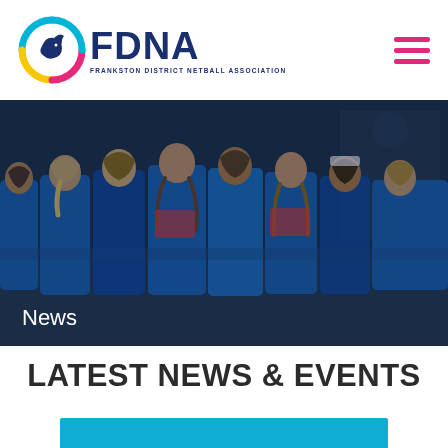FDNA - Frankston District Netball Association
[Figure (photo): Group of female netball players in blue uniforms viewed from behind, arms around each other, on an outdoor netball court at night]
News
LATEST NEWS & EVENTS
[Figure (other): Blue card/banner strip at bottom of page]